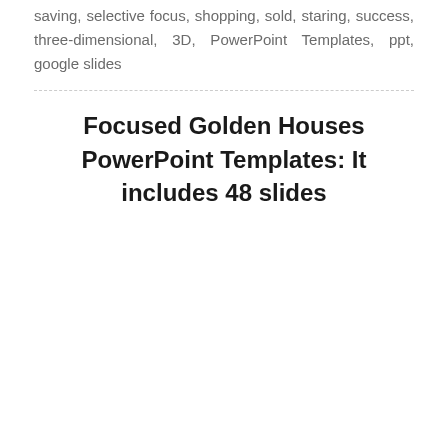saving, selective focus, shopping, sold, staring, success, three-dimensional, 3D, PowerPoint Templates, ppt, google slides
Focused Golden Houses PowerPoint Templates: It includes 48 slides